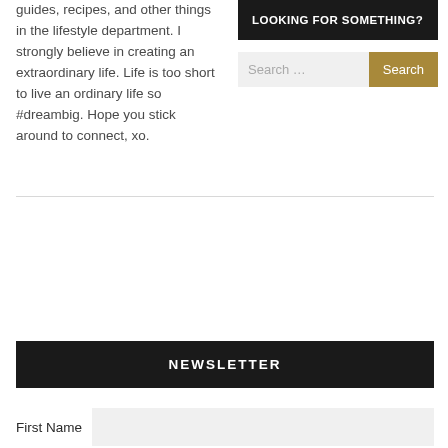guides, recipes, and other things in the lifestyle department. I strongly believe in creating an extraordinary life. Life is too short to live an ordinary life so #dreambig. Hope you stick around to connect, xo.
LOOKING FOR SOMETHING?
[Figure (screenshot): Search box with text input field labeled 'Search ...' and a gold/tan 'Search' button]
NEWSLETTER
First Name